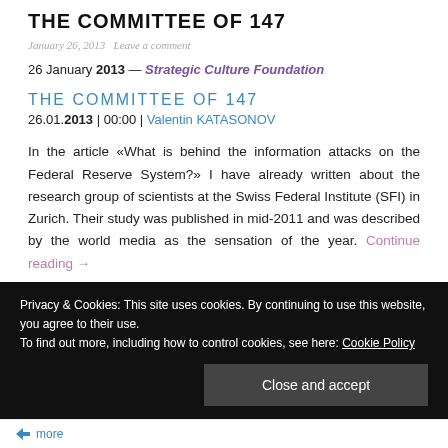THE COMMITTEE OF 147
January 26, 2013   Leave a comment
26 January 2013 — Strategic Culture Foundation
THE COMMITTEE OF 147
26.01.2013 | 00:00 | Valentin KATASONOV
In the article «What is behind the information attacks on the Federal Reserve System?» I have already written about the research group of scientists at the Swiss Federal Institute (SFI) in Zurich. Their study was published in mid-2011 and was described by the world media as the sensation of the year. Continue reading →
Privacy & Cookies: This site uses cookies. By continuing to use this website, you agree to their use.
To find out more, including how to control cookies, see here: Cookie Policy
Close and accept